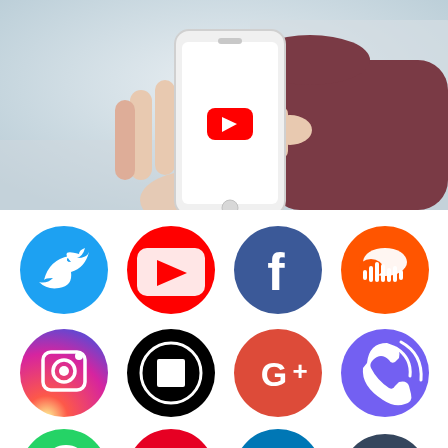[Figure (photo): Person holding a white smartphone displaying the YouTube logo (red play button on white background), tapping the screen with one finger. The person is wearing a maroon/dark red long-sleeve shirt. Background is blurred light grey/white interior.]
[Figure (infographic): Grid of social media app icons arranged in 3 rows of 4: Row 1: Twitter (blue circle, white bird), YouTube (red circle, white play button), Facebook (dark blue circle, white f), SoundCloud (orange-red circle, white cloud/waveform). Row 2: Instagram (colorful gradient circle, white camera), Uber (black circle, black square logo), Google+ (red circle, white G+), Viber (purple circle, white phone icon). Row 3: WhatsApp (green circle, white phone), Pinterest (red circle, white P), LinkedIn (blue circle, white in), Tumblr (dark blue circle, white t).]